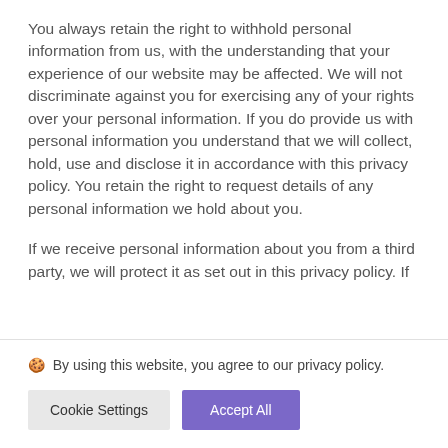You always retain the right to withhold personal information from us, with the understanding that your experience of our website may be affected. We will not discriminate against you for exercising any of your rights over your personal information. If you do provide us with personal information you understand that we will collect, hold, use and disclose it in accordance with this privacy policy. You retain the right to request details of any personal information we hold about you.

If we receive personal information about you from a third party, we will protect it as set out in this privacy policy. If
🍪 By using this website, you agree to our privacy policy.
Cookie Settings
Accept All